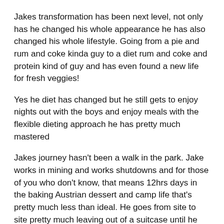Jakes transformation has been next level, not only has he changed his whole appearance he has also changed his whole lifestyle. Going from a pie and rum and coke kinda guy to a diet rum and coke and protein kind of guy and has even found a new life for fresh veggies!
Yes he diet has changed but he still gets to enjoy nights out with the boys and enjoy meals with the flexible dieting approach he has pretty much mastered
Jakes journey hasn't been a walk in the park. Jake works in mining and works shutdowns and for those of you who don't know, that means 12hrs days in the baking Austrian dessert and camp life that's pretty much less than ideal. He goes from site to site pretty much leaving out of a suitcase until he gets to come home.
Jake could have quite easily accepted his faith, camp food is deep-fried and full of pies and alternating healthy options are hard to come by. Everything is deep-fried and of poor quality and making good food choices is a constant battle especially walking past the